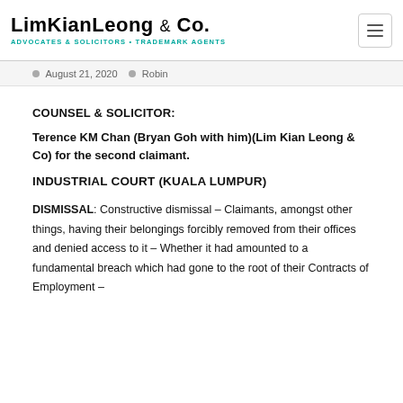[Figure (logo): Lim Kian Leong & Co. Advocates & Solicitors · Trademark Agents logo]
August 21, 2020  Robin
COUNSEL & SOLICITOR:
Terence KM Chan (Bryan Goh with him)(Lim Kian Leong & Co) for the second claimant.
INDUSTRIAL COURT (KUALA LUMPUR)
DISMISSAL: Constructive dismissal – Claimants, amongst other things, having their belongings forcibly removed from their offices and denied access to it – Whether it had amounted to a fundamental breach which had gone to the root of their Contracts of Employment –